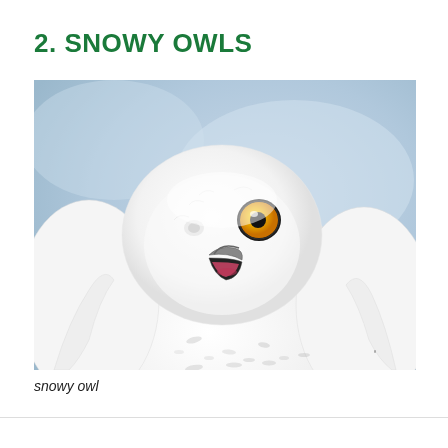2. SNOWY OWLS
[Figure (photo): Close-up photograph of a white snowy owl with one visible yellow eye and an open beak, set against a pale blue sky background. The owl has fluffy white feathers with some grey speckles on its chest.]
snowy owl